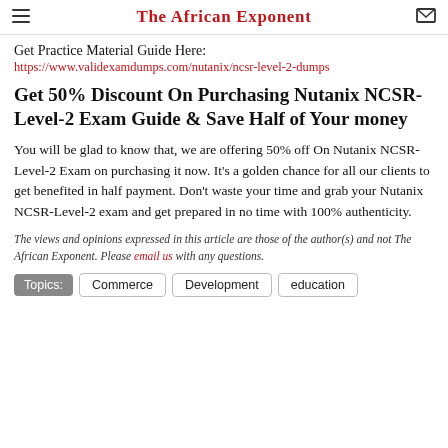The African Exponent
Get Practice Material Guide Here:
https://www.validexamdumps.com/nutanix/ncsr-level-2-dumps
Get 50% Discount On Purchasing Nutanix NCSR-Level-2 Exam Guide & Save Half of Your money
You will be glad to know that, we are offering 50% off On Nutanix NCSR-Level-2 Exam on purchasing it now. It's a golden chance for all our clients to get benefited in half payment. Don't waste your time and grab your Nutanix NCSR-Level-2 exam and get prepared in no time with 100% authenticity.
The views and opinions expressed in this article are those of the author(s) and not The African Exponent. Please email us with any questions.
Topics: Commerce Development education